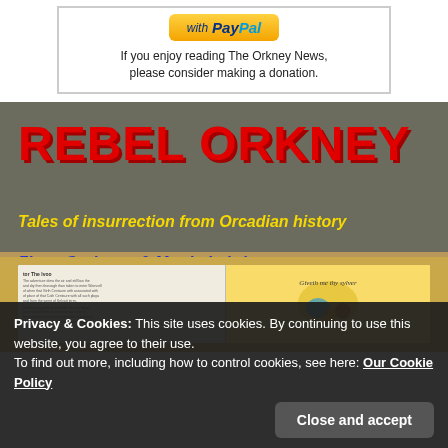[Figure (other): PayPal donation button with text 'If you enjoy reading The Orkney News, please consider making a donation.']
[Figure (photo): Book cover image for 'Rebel Orkney: Tales of insurrection from Orcadian history' by Fiona Grahame & Martin Laird, showing an open book with illustrated pages including text 'Giveth me thy sylver']
Privacy & Cookies: This site uses cookies. By continuing to use this website, you agree to their use.
To find out more, including how to control cookies, see here: Our Cookie Policy